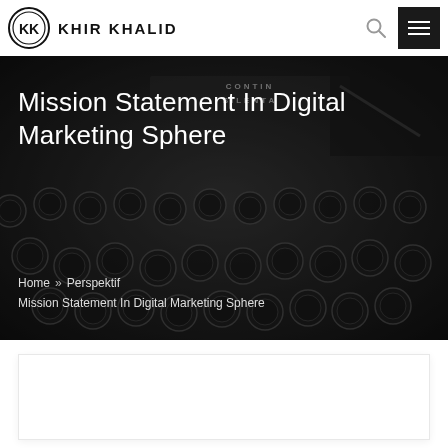KHIR KHALID
[Figure (photo): Close-up photograph of a vintage Continental Silenta typewriter keyboard, dark/black keys with round keys visible. Serves as hero background image.]
Mission Statement In Digital Marketing Sphere
Home » Perspektif » Mission Statement In Digital Marketing Sphere